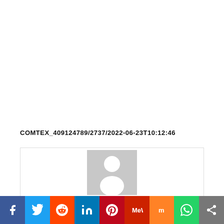COMTEX_409124789/2737/2022-06-23T10:12:46
[Figure (photo): Generic author placeholder image — grey rectangle with white silhouette of a person (circle head and rounded torso)]
Social share bar: Facebook, Twitter, Reddit, LinkedIn, Pinterest, MeWe, Mix, WhatsApp, Share